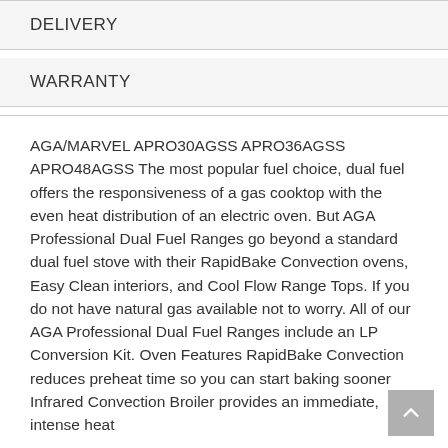DELIVERY
WARRANTY
AGA/MARVEL APRO30AGSS APRO36AGSS APRO48AGSS The most popular fuel choice, dual fuel offers the responsiveness of a gas cooktop with the even heat distribution of an electric oven. But AGA Professional Dual Fuel Ranges go beyond a standard dual fuel stove with their RapidBake Convection ovens, Easy Clean interiors, and Cool Flow Range Tops. If you do not have natural gas available not to worry. All of our AGA Professional Dual Fuel Ranges include an LP Conversion Kit. Oven Features RapidBake Convection reduces preheat time so you can start baking sooner Infrared Convection Broiler provides an immediate, intense heat